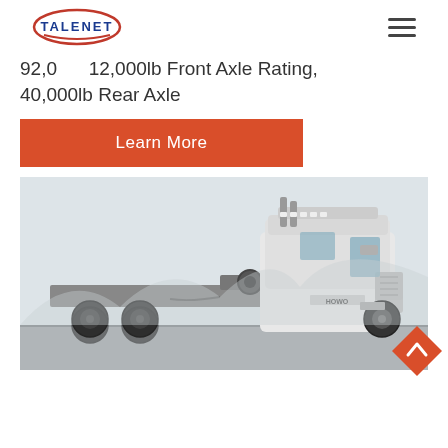TALENET [logo]
92,0... 12,000lb Front Axle Rating, 40,000lb Rear Axle
Learn More
[Figure (photo): White HOWO heavy-duty tractor truck parked on a lot, side-front view showing cab, sixth wheel coupling, and dual rear axles. Outdoor background with hazy sky and industrial setting.]